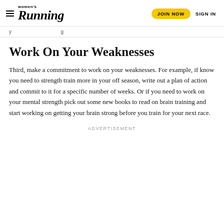Women's Running | JOIN NOW | SIGN IN
y ... g ...
Work On Your Weaknesses
Third, make a commitment to work on your weaknesses. For example, if know you need to strength train more in your off season, write out a plan of action and commit to it for a specific number of weeks. Or if you need to work on your mental strength pick out some new books to read on brain training and start working on getting your brain strong before you train for your next race.
ADVERTISEMENT